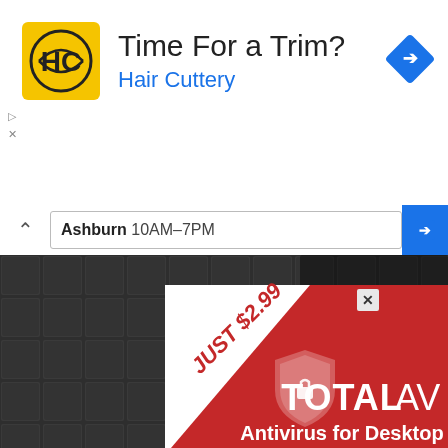[Figure (screenshot): Hair Cuttery ad banner with yellow HC logo, title 'Time For a Trim?', subtitle 'Hair Cuttery', blue navigation diamond icon, and ad controls]
Ashburn 10AM–7PM
[Figure (screenshot): TotalAV antivirus advertisement on dark tiled background. Red banner with diagonal white ribbon saying 'JUST $2.99', shield icon, 'TOTAL AV' logo, and text 'Antivirus for Desktop & Mobile'. Close X button top right.]